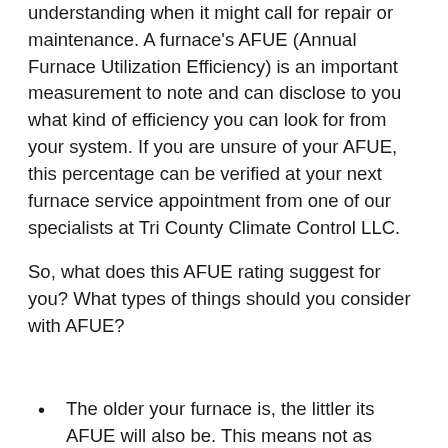understanding when it might call for repair or maintenance. A furnace's AFUE (Annual Furnace Utilization Efficiency) is an important measurement to note and can disclose to you what kind of efficiency you can look for from your system. If you are unsure of your AFUE, this percentage can be verified at your next furnace service appointment from one of our specialists at Tri County Climate Control LLC.
So, what does this AFUE rating suggest for you? What types of things should you consider with AFUE?
The older your furnace is, the littler its AFUE will also be. This means not as much energy